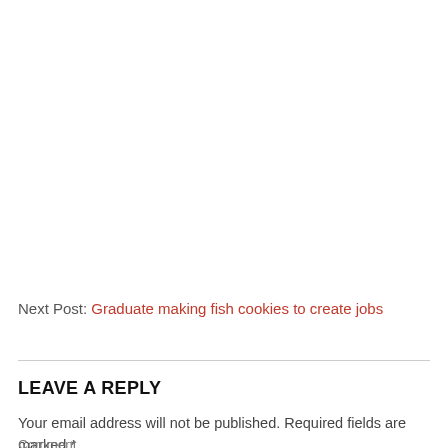Next Post: Graduate making fish cookies to create jobs
LEAVE A REPLY
Your email address will not be published. Required fields are marked *
Comment